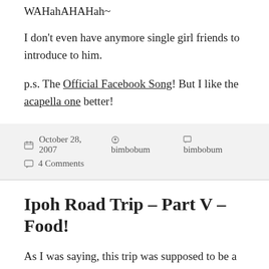WAHahAHAHah~
I don't even have anymore single girl friends to introduce to him.
p.s. The Official Facebook Song! But I like the acapella one better!
October 28, 2007  bimbobum  bimbobum  4 Comments
Ipoh Road Trip – Part V – Food!
As I was saying, this trip was supposed to be a climbing trip but turned into an eating trip. Our first